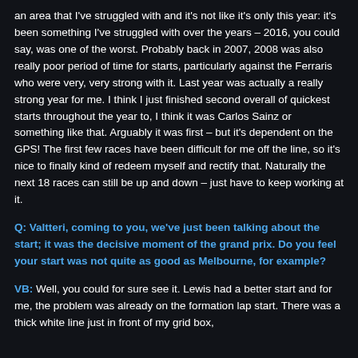an area that I've struggled with and it's not like it's only this year: it's been something I've struggled with over the years – 2016, you could say, was one of the worst. Probably back in 2007, 2008 was also really poor period of time for starts, particularly against the Ferraris who were very, very strong with it. Last year was actually a really strong year for me. I think I just finished second overall of quickest starts throughout the year to, I think it was Carlos Sainz or something like that. Arguably it was first – but it's dependent on the GPS! The first few races have been difficult for me off the line, so it's nice to finally kind of redeem myself and rectify that. Naturally the next 18 races can still be up and down – just have to keep working at it.
Q: Valtteri, coming to you, we've just been talking about the start; it was the decisive moment of the grand prix. Do you feel your start was not quite as good as Melbourne, for example?
VB: Well, you could for sure see it. Lewis had a better start and for me, the problem was already on the formation lap start. There was a thick white line just in front of my grid box,